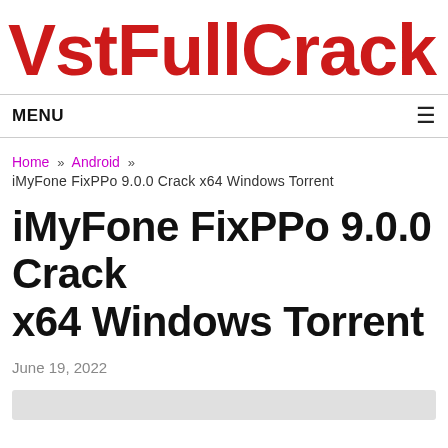VstFullCrack
MENU
Home » Android » iMyFone FixPPo 9.0.0 Crack x64 Windows Torrent
iMyFone FixPPo 9.0.0 Crack x64 Windows Torrent
June 19, 2022